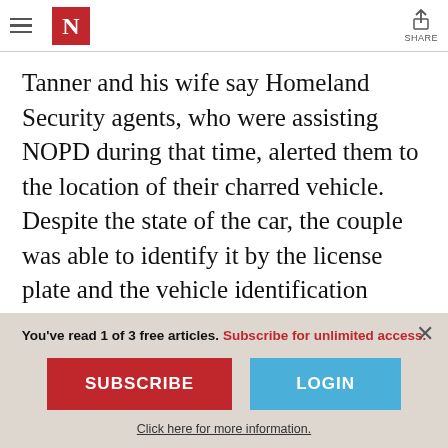N (The Nation logo) — SHARE
Tanner and his wife say Homeland Security agents, who were assisting NOPD during that time, alerted them to the location of their charred vehicle. Despite the state of the car, the couple was able to identify it by the license plate and the vehicle identification number.
You've read 1 of 3 free articles. Subscribe for unlimited access.
SUBSCRIBE
LOGIN
Click here for more information.